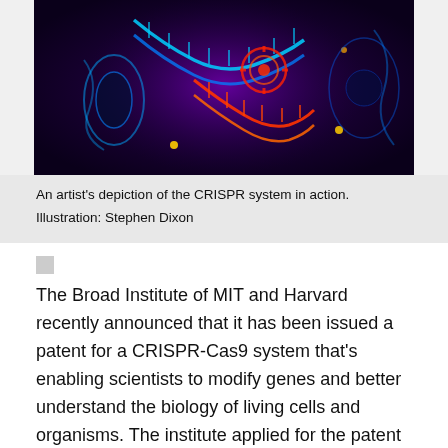[Figure (illustration): An artist's colorful digital illustration of the CRISPR system in action, showing a DNA double helix with glowing blue and red elements against a dark purple background.]
An artist's depiction of the CRISPR system in action.
Illustration: Stephen Dixon
The Broad Institute of MIT and Harvard recently announced that it has been issued a patent for a CRISPR-Cas9 system that's enabling scientists to modify genes and better understand the biology of living cells and organisms. The institute applied for the patent in concert with a Jan. 3, 2013 publication in Science that described the use of the CRISPR enzyme, Cas9, for genome editing.